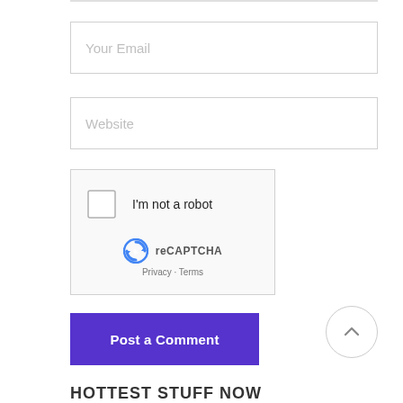[Figure (screenshot): Email input field with placeholder text 'Your Email']
[Figure (screenshot): Website input field with placeholder text 'Website']
[Figure (other): reCAPTCHA widget with checkbox 'I'm not a robot', Google logo, 'reCAPTCHA', and 'Privacy - Terms' links]
[Figure (other): Purple 'Post a Comment' button]
[Figure (other): Circular scroll-to-top arrow button]
HOTTEST STUFF NOW